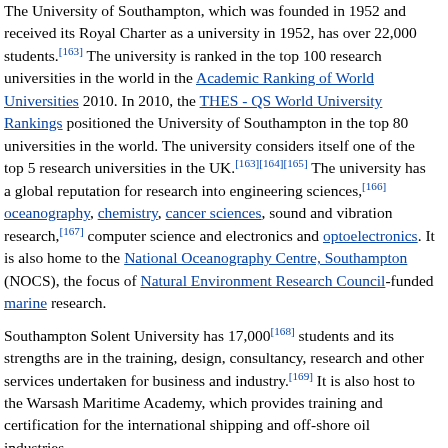The University of Southampton, which was founded in 1952 and received its Royal Charter as a university in 1952, has over 22,000 students.[163] The university is ranked in the top 100 research universities in the world in the Academic Ranking of World Universities 2010. In 2010, the THES - QS World University Rankings positioned the University of Southampton in the top 80 universities in the world. The university considers itself one of the top 5 research universities in the UK.[163][164][165] The university has a global reputation for research into engineering sciences,[166] oceanography, chemistry, cancer sciences, sound and vibration research,[167] computer science and electronics and optoelectronics. It is also home to the National Oceanography Centre, Southampton (NOCS), the focus of Natural Environment Research Council-funded marine research.
Southampton Solent University has 17,000[168] students and its strengths are in the training, design, consultancy, research and other services undertaken for business and industry.[169] It is also host to the Warsash Maritime Academy, which provides training and certification for the international shipping and off-shore oil industries.
In addition to state school sixth forms at St Anne's and Bitterne Park School and an independent sixth form at King Edward's, there are two sixth form colleges: Itchen College and Richard Taunton...